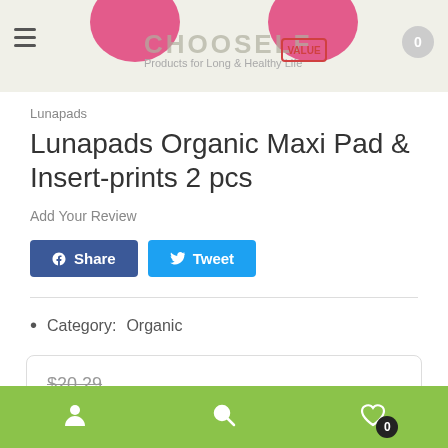[Figure (screenshot): Website header banner with pink circles, hamburger menu icon, logo text area, and cart badge showing 0]
Lunapads
Lunapads Organic Maxi Pad & Insert-prints 2 pcs
Add Your Review
f Share   Tweet
Category:   Organic
$20.29
Bottom navigation bar with user, search, and wishlist icons; cart badge showing 0